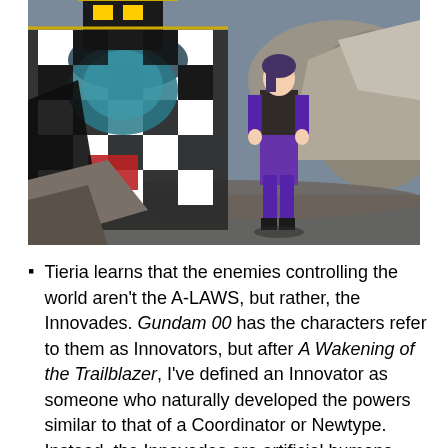[Figure (illustration): Anime screenshot from Gundam 00 showing a large black and white checkered mecha robot on the left and a female character in a purple suit standing in front of rocky terrain on the right.]
Tieria learns that the enemies controlling the world aren't the A-LAWS, but rather, the Innovades. Gundam 00 has the characters refer to them as Innovators, but after A Wakening of the Trailblazer, I've defined an Innovator as someone who naturally developed the powers similar to that of a Coordinator or Newtype. Instead, the Innovades are artificial humans made to assist with Schenberg's plan. Over time, they began pursuing their own interests, resulting in the conflict